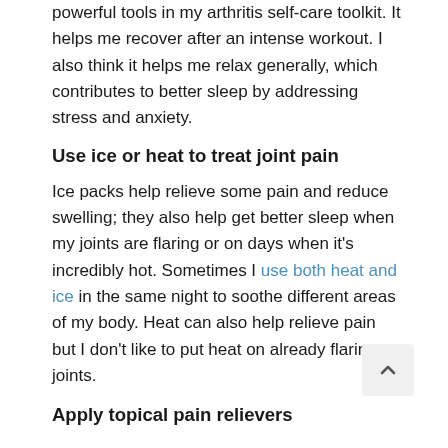powerful tools in my arthritis self-care toolkit. It helps me recover after an intense workout. I also think it helps me relax generally, which contributes to better sleep by addressing stress and anxiety.
Use ice or heat to treat joint pain
Ice packs help relieve some pain and reduce swelling; they also help get better sleep when my joints are flaring or on days when it's incredibly hot. Sometimes I use both heat and ice in the same night to soothe different areas of my body. Heat can also help relieve pain but I don't like to put heat on already flaring joints.
Apply topical pain relievers